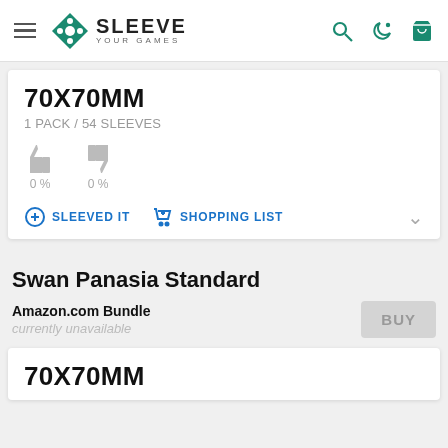Sleeve Your Games
70X70MM
1 PACK / 54 SLEEVES
0 %  0 %
SLEEVED IT   SHOPPING LIST
Swan Panasia Standard
Amazon.com Bundle
currently unavailable
BUY
70X70MM